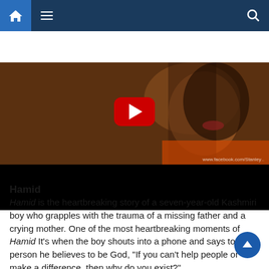[Figure (screenshot): Website navigation bar with home icon (blue), hamburger menu, and search icon on dark navy background]
[Figure (screenshot): YouTube video thumbnail showing a close-up of a young boy's face with a red YouTube play button overlay. Watermark reads www.facebook.com/Stanley. Bottom portion is black.]
Hamid
Hamid is the heartbreaking story of a seven-year-old Kashmiri boy who grapples with the trauma of a missing father and a crying mother. One of the most heartbreaking moments of Hamid It’s when the boy shouts into a phone and says to the person he believes to be God, “If you can’t help people or make a difference, then why do you exist?”